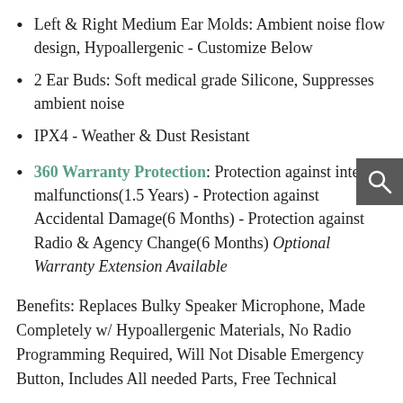Left & Right Medium Ear Molds: Ambient noise flow design, Hypoallergenic - Customize Below
2 Ear Buds: Soft medical grade Silicone, Suppresses ambient noise
IPX4 - Weather & Dust Resistant
360 Warranty Protection: Protection against internal malfunctions(1.5 Years) - Protection against Accidental Damage(6 Months) - Protection against Radio & Agency Change(6 Months) Optional Warranty Extension Available
Benefits: Replaces Bulky Speaker Microphone, Made Completely w/ Hypoallergenic Materials, No Radio Programming Required, Will Not Disable Emergency Button, Includes All needed Parts, Free Technical